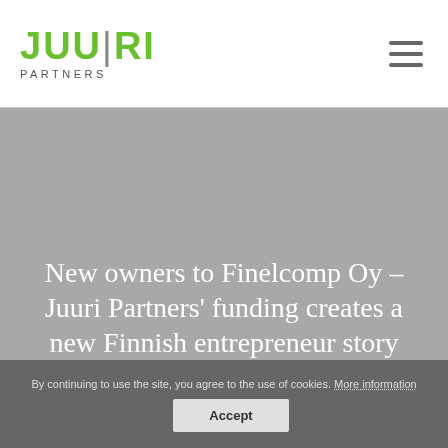[Figure (logo): Juuri Partners logo with green text and 'PARTNERS' subtitle]
New owners to Finelcomp Oy – Juuri Partners' funding creates a new Finnish entrepreneur story
By continuing to use the site, you agree to the use of cookies. More information Accept